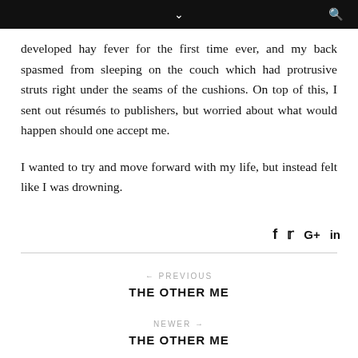developed hay fever for the first time ever, and my back spasmed from sleeping on the couch which had protrusive struts right under the seams of the cushions. On top of this, I sent out résumés to publishers, but worried about what would happen should one accept me.

I wanted to try and move forward with my life, but instead felt like I was drowning.
f  ✦  G+  in
← PREVIOUS
THE OTHER ME
NEWER →
THE OTHER ME